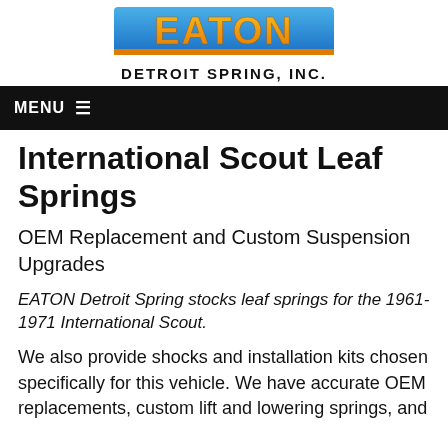[Figure (logo): EATON Detroit Spring, Inc. logo with blue and orange gradient text on blue background, with company name below in bold black capitals]
MENU ≡
International Scout Leaf Springs
OEM Replacement and Custom Suspension Upgrades
EATON Detroit Spring stocks leaf springs for the 1961-1971 International Scout.
We also provide shocks and installation kits chosen specifically for this vehicle. We have accurate OEM replacements, custom lift and lowering springs, and